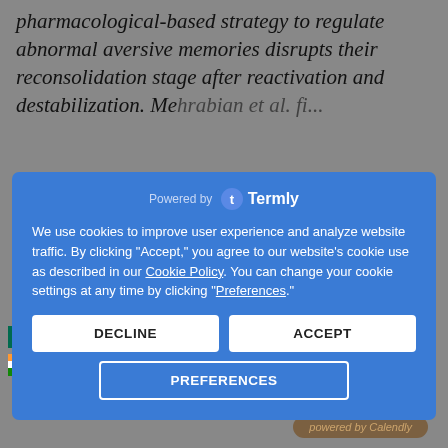pharmacological-based strategy to regulate abnormal aversive memories disrupts their reconsolidation stage after reactivation and destabilization. Mehrabian et al. finding...
[Figure (screenshot): Termly cookie consent popup overlay with blue background, showing 'Powered by Termly' header, cookie usage text with Cookie Policy and Preferences links, DECLINE and ACCEPT buttons, and PREFERENCES button]
CONCLUSIONS: Artisanal cannabidiol-
[Figure (other): Row of country flags including Bangladesh, China, Taiwan, UK, France, Germany, India, Italy, Japan, South Korea, India, Portugal, India, Russia, Spain, Sweden, India, Thailand, Turkey, Ukraine, Vietnam]
-term tr-